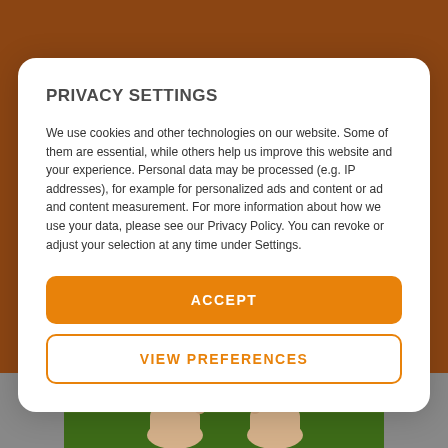[Figure (logo): Sun/sunrise logo icon in light gray outline on brown/orange header bar, with hamburger menu icon on the right]
PRIVACY SETTINGS
We use cookies and other technologies on our website. Some of them are essential, while others help us improve this website and your experience. Personal data may be processed (e.g. IP addresses), for example for personalized ads and content or ad and content measurement. For more information about how we use your data, please see our Privacy Policy. You can revoke or adjust your selection at any time under Settings.
ACCEPT
VIEW PREFERENCES
[Figure (photo): Bottom portion showing bare feet standing on green grass, partially visible]